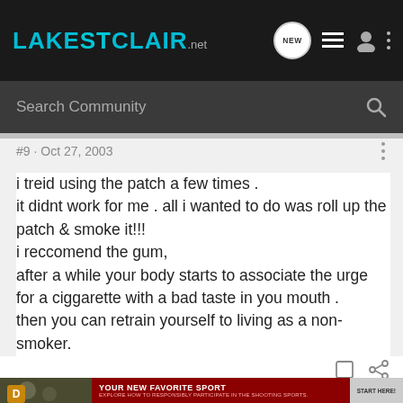LakeStClair.net
Search Community
#9 · Oct 27, 2003
i treid using the patch a few times .
it didnt work for me . all i wanted to do was roll up the patch & smoke it!!!
i reccomend the gum,
after a while your body starts to associate the urge for a ciggarette with a bad taste in you mouth .
then you can retrain yourself to living as a non-smoker.
at least thats how i've done it .
[Figure (photo): Advertisement banner for shooting sports: YOUR NEW FAVORITE SPORT - EXPLORE HOW TO RESPONSIBLY PARTICIPATE IN THE SHOOTING SPORTS. START HERE!]